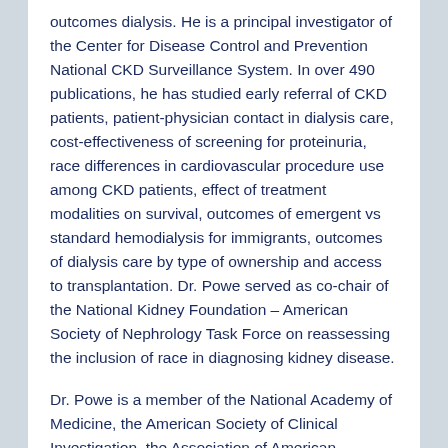outcomes dialysis. He is a principal investigator of the Center for Disease Control and Prevention National CKD Surveillance System. In over 490 publications, he has studied early referral of CKD patients, patient-physician contact in dialysis care, cost-effectiveness of screening for proteinuria, race differences in cardiovascular procedure use among CKD patients, effect of treatment modalities on survival, outcomes of emergent vs standard hemodialysis for immigrants, outcomes of dialysis care by type of ownership and access to transplantation. Dr. Powe served as co-chair of the National Kidney Foundation – American Society of Nephrology Task Force on reassessing the inclusion of race in diagnosing kidney disease.
Dr. Powe is a member of the National Academy of Medicine, the American Society of Clinical Investigation, the Association of American Physicians, the American Society of Epidemiology, Master of the American College